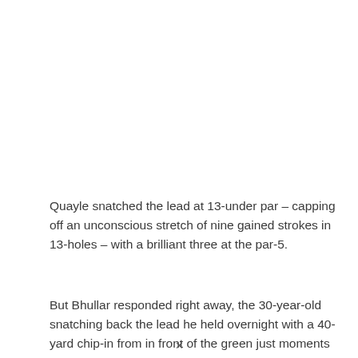Quayle snatched the lead at 13-under par – capping off an unconscious stretch of nine gained strokes in 13-holes – with a brilliant three at the par-5.
But Bhullar responded right away, the 30-year-old snatching back the lead he held overnight with a 40-yard chip-in from in front of the green just moments after the Australian hit the clubhouse.
[Figure (photo): A light gray rectangular image placeholder]